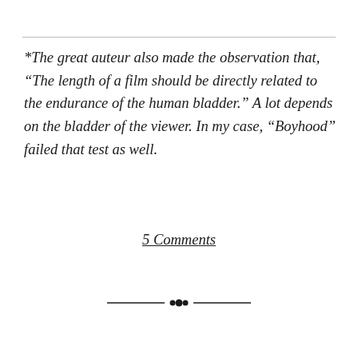*The great auteur also made the observation that, “The length of a film should be directly related to the endurance of the human bladder.” A lot depends on the bladder of the viewer. In my case, “Boyhood” failed that test as well.
5 Comments